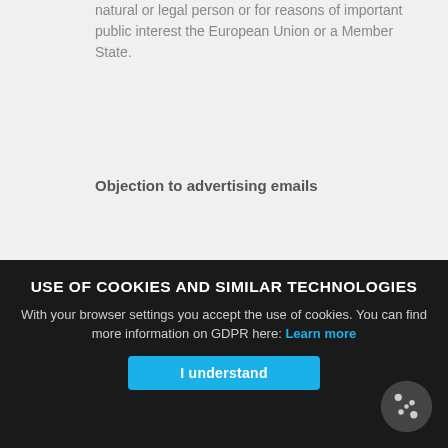natural or legal person or for reasons of important public interest the European Union or a Member State.
Objection to advertising emails
We hereby object to the use of contact data published within the scope of the imprint obligation for sending unsolicited advertising and information material. The operators of the pages expressly reserve the right to take legal action in the event of unsolicited promotional information, such as spam e-mails.
3. DATA COLLECTION ON OUR WEBSITE
USE OF COOKIES AND SIMILAR TECHNOLOGIES
With your browser settings you accept the use of cookies. You can find more information on GDPR here: Learn more
I understand